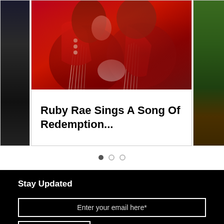[Figure (photo): Carousel slide showing a woman with red hair wearing a red fringed jacket, with partial cards visible on left and right sides]
Ruby Rae Sings A Song Of Redemption...
Carousel pagination dots: 3 dots, first filled
Stay Updated
Enter your email here*
Join